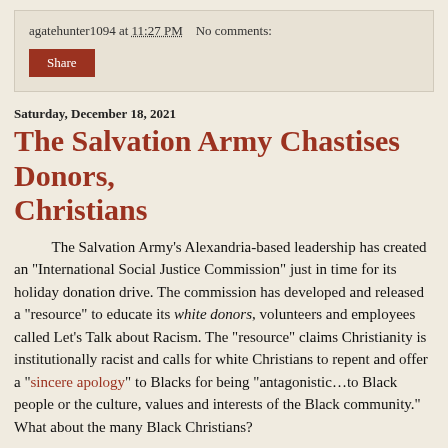agatehunter1094 at 11:27 PM   No comments:
Share
Saturday, December 18, 2021
The Salvation Army Chastises Donors, Christians
The Salvation Army's Alexandria-based leadership has created an “International Social Justice Commission” just in time for its holiday donation drive. The commission has developed and released a “resource” to educate its white donors, volunteers and employees called Let’s Talk about Racism. The “resource” claims Christianity is institutionally racist and calls for white Christians to repent and offer a “sincere apology” to Blacks for being “antagonistic…to Black people or the culture, values and interests of the Black community.” What about the many Black Christians?